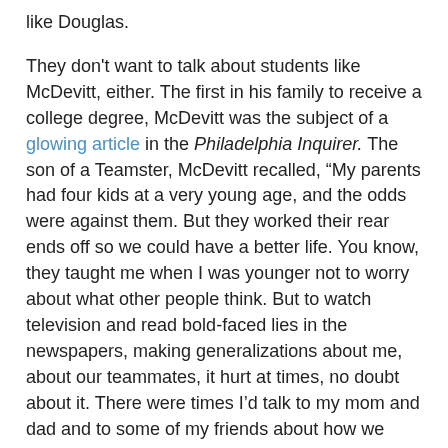like Douglas.
They don't want to talk about students like McDevitt, either. The first in his family to receive a college degree, McDevitt was the subject of a glowing article in the Philadelphia Inquirer. The son of a Teamster, McDevitt recalled, “My parents had four kids at a very young age, and the odds were against them. But they worked their rear ends off so we could have a better life. You know, they taught me when I was younger not to worry about what other people think. But to watch television and read bold-faced lies in the newspapers, making generalizations about me, about our teammates, it hurt at times, no doubt about it. There were times I’d talk to my mom and dad and to some of my friends about how we wished people knew the truth. I tried not to let it bother me too much. Thankfully, that whole thing is in the past.”
John Danowski gushed, “Special is such an overused word in coaching, but Tony is one of those young men who really is special. He’s an excellent student. He’s a worker in the weight room. He wants to lead, and he’s a vocal about it.